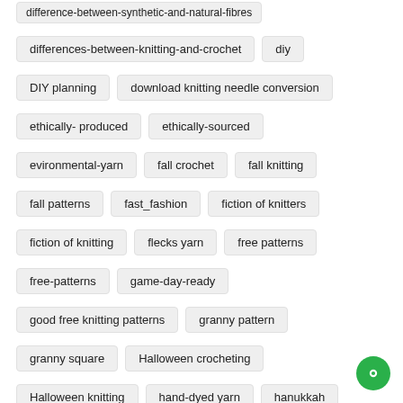difference-between-synthetic-and-natural-fibres
differences-between-knitting-and-crochet
diy
DIY planning
download knitting needle conversion
ethically- produced
ethically-sourced
evironmental-yarn
fall crochet
fall knitting
fall patterns
fast_fashion
fiction of knitters
fiction of knitting
flecks yarn
free patterns
free-patterns
game-day-ready
good free knitting patterns
granny pattern
granny square
Halloween crocheting
Halloween knitting
hand-dyed yarn
hanukkah